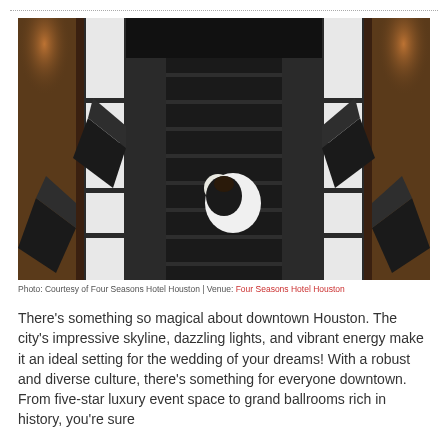[Figure (photo): Aerial top-down view of a bride and groom embracing on a dark staircase runner with marble steps, surrounded by geometric black diamond sculptures on either side, taken inside the Four Seasons Hotel Houston.]
Photo: Courtesy of Four Seasons Hotel Houston | Venue: Four Seasons Hotel Houston
There’s something so magical about downtown Houston. The city’s impressive skyline, dazzling lights, and vibrant energy make it an ideal setting for the wedding of your dreams! With a robust and diverse culture, there’s something for everyone downtown. From five-star luxury event space to grand ballrooms rich in history, you’re sure